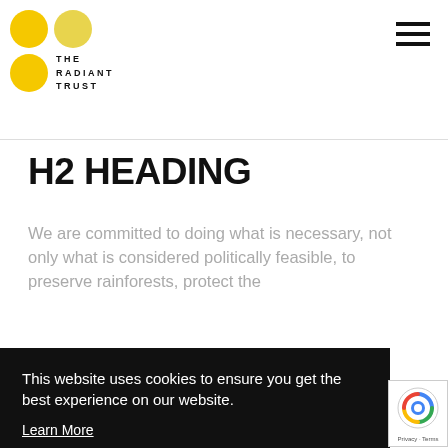THE RADIANT TRUST
H2 HEADING
We are committed to doing what is necessary, not only what is considered politically feasible, to preserve rainforests, protect the
This website uses cookies to ensure you get the best experience on our website.
Learn More
Got it!